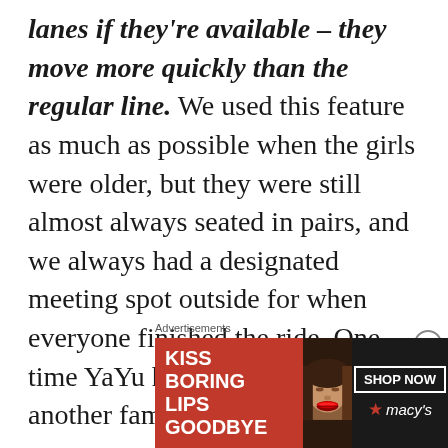lanes if they're available – they move more quickly than the regular line. We used this feature as much as possible when the girls were older, but they were still almost always seated in pairs, and we always had a designated meeting spot outside for when everyone finished the ride. One time YaYu had to sit alone with another family, but
Advertisements
[Figure (other): Macy's advertisement banner: red background on left with text 'KISS BORING LIPS GOODBYE', center shows woman's face with red lipstick, right side has 'SHOP NOW' button and Macy's star logo on dark background.]